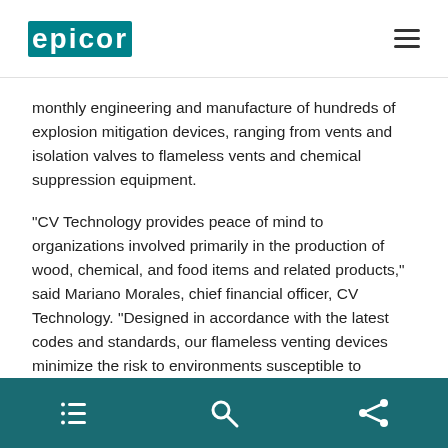EPICOR
monthly engineering and manufacture of hundreds of explosion mitigation devices, ranging from vents and isolation valves to flameless vents and chemical suppression equipment.
"CV Technology provides peace of mind to organizations involved primarily in the production of wood, chemical, and food items and related products," said Mariano Morales, chief financial officer, CV Technology. "Designed in accordance with the latest codes and standards, our flameless venting devices minimize the risk to environments susceptible to organic dust explosions and fires. These services also involve the testing necessary for determining potential problems and their mitigation. Very few competitors can match our depth of services or
navigation icons: list, search, share